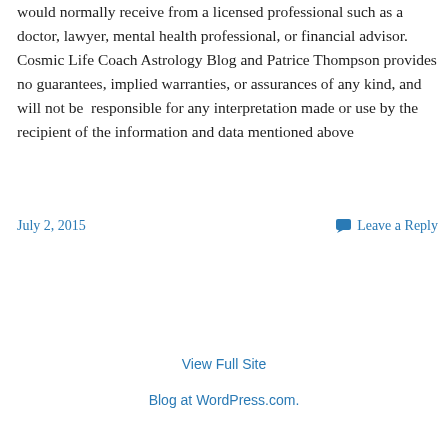would normally receive from a licensed professional such as a doctor, lawyer, mental health professional, or financial advisor. Cosmic Life Coach Astrology Blog and Patrice Thompson provides no guarantees, implied warranties, or assurances of any kind, and will not be responsible for any interpretation made or use by the recipient of the information and data mentioned above
July 2, 2015
Leave a Reply
View Full Site
Blog at WordPress.com.